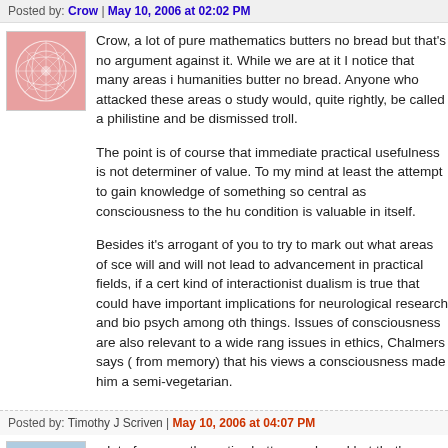Posted by: Crow | May 10, 2006 at 02:02 PM
[Figure (illustration): Avatar image with pink/red fractal or flower-like pattern on white background, square with border]
Crow, a lot of pure mathematics butters no bread but that's no argument against it. While we are at it I notice that many areas in humanities butter no bread. Anyone who attacked these areas of study would, quite rightly, be called a philistine and be dismissed as a troll.
The point is of course that immediate practical usefulness is not the determiner of value. To my mind at least the attempt to gain knowledge of something so central as consciousness to the human condition is valuable in itself.
Besides it's arrogant of you to try to mark out what areas of science will and will not lead to advancement in practical fields, if a certain kind of interactionist dualism is true that could have important implications for neurological research and bio psych among other things. Issues of consciousness are also relevant to a wide range of issues in ethics, Chalmers says ( from memory) that his views a consciousness made him a semi-vegetarian.
Posted by: Timothy J Scriven | May 10, 2006 at 04:07 PM
[Figure (illustration): Avatar image with blue/teal fractal or network pattern on white background, square with border]